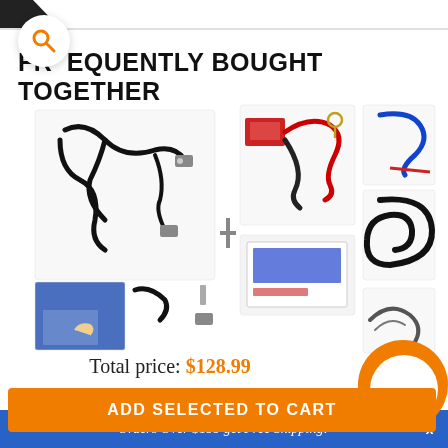FREQUENTLY BOUGHT TOGETHER
[Figure (photo): Wiring harness kit product image showing cables, connectors and mounting hardware]
[Figure (photo): Amplifier wiring kit product image showing red and black power cables, blue wire, and accessories]
Total price: $128.99
ADD SELECTED TO CART
Orders Over $199 get Free Shipping!